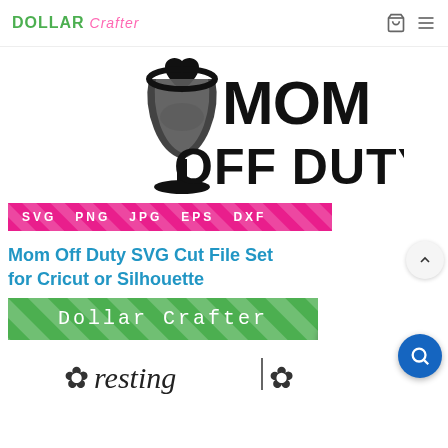DOLLAR Crafter
[Figure (illustration): Mom Off Duty graphic with wine glass silhouette in black and gray, large bold text reading MOM OFF DUTY]
[Figure (illustration): Format badge banner in hot pink with diagonal stripe overlay, text: SVG PNG JPG EPS DXF]
Mom Off Duty SVG Cut File Set for Cricut or Silhouette
[Figure (illustration): Dollar Crafter watermark banner in green with diagonal stripe overlay and white text]
[Figure (illustration): Partial bottom image showing decorative font text, partially cut off]